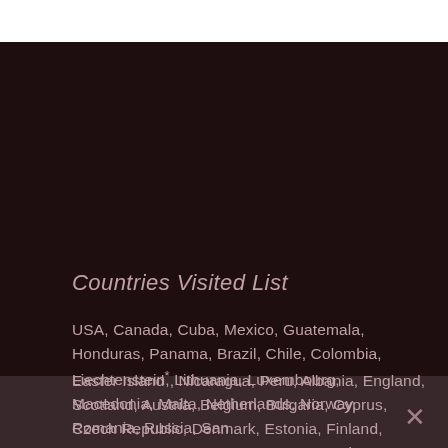Countries Visited List
USA, Canada, Cuba, Mexico, Guatemala, Honduras, Panama, Brazil, Chile, Colombia, Easter Island*, Nicaragua, Peru, Albania, England, Scotland, Austria, Belgium, Bulgaria, Cyprus, Czech Republic, Denmark, Estonia, Finland, France, Germany, Greece, Hungary, Italy, Kosovo*, Latvia, Liechtenstein, Lithuania, Luxembourg, Macedonia, Malta, Netherlands, Norway, Romania, Russia, San